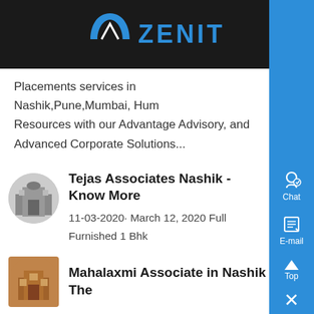[Figure (logo): Zenit logo with arch icon and blue text on dark background]
Placements services in Nashik,Pune,Mumbai, Hum Resources with our Advantage Advisory, and Advanced Corporate Solutions...
Tejas Associates Nashik - Know More
11-03-2020· March 12, 2020 Full Furnished 1 Bhk Flat in Pathradi Phata Nashik Is is one of the projec handled by Tejas Associates, in Pathradi Phata Nas Fully furnished 1 bhk Flat in Prime location For details contact Vinod Sir 9373904406 Address: ( W demanded area) Only 200m from main Highway, Opposite to hotel Taj, Pathradi Phata, Nashik ....
Mahalaxmi Associate in Nashik | The